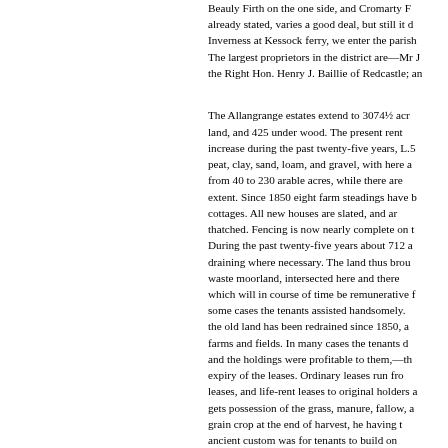Beauly Firth on the one side, and Cromarty Firth already stated, varies a good deal, but still it does Inverness at Kessock ferry, we enter the parish. The largest proprietors in the district are—Mr J the Right Hon. Henry J. Baillie of Redcastle; an
The Allangrange estates extend to 3074½ acres land, and 425 under wood. The present rent increase during the past twenty-five years, L.5 peat, clay, sand, loam, and gravel, with here an from 40 to 230 arable acres, while there are extent. Since 1850 eight farm steadings have b cottages. All new houses are slated, and ar thatched. Fencing is now nearly complete on t During the past twenty-five years about 712 a draining where necessary. The land thus brou waste moorland, intersected here and there which will in course of time be remunerative some cases the tenants assisted handsomely. the old land has been redrained since 1850, a farms and fields. In many cases the tenants d and the holdings were profitable to them,—th expiry of the leases. Ordinary leases run fro leases, and life-rent leases to original holders a gets possession of the grass, manure, fallow, a grain crop at the end of harvest, he having ancient custom was for tenants to build on executed by the proprietor, the tenant paying When a tenant builds at his own expense some farms held under ordinary leases varies from 1